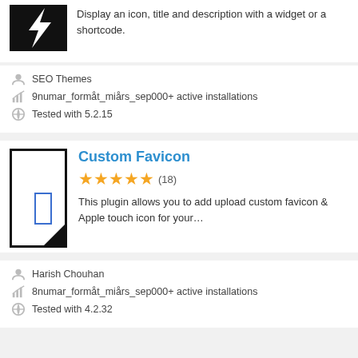[Figure (screenshot): Top plugin card partial view: black lightning bolt logo image on left, description text on right: 'Display an icon, title and description with a widget or a shortcode.']
Display an icon, title and description with a widget or a shortcode.
SEO Themes
9numar_formåt_miårs_sep000+ active installations
Tested with 5.2.15
Custom Favicon
[Figure (screenshot): Custom Favicon plugin logo: white rectangle with thick black border, a blue rectangle inside, and a folded black corner at bottom right]
This plugin allows you to add upload custom favicon & Apple touch icon for your…
Harish Chouhan
8numar_formåt_miårs_sep000+ active installations
Tested with 4.2.32